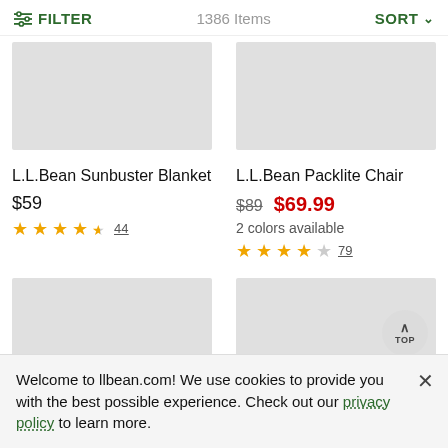FILTER   1386 Items   SORT
[Figure (photo): Gray placeholder image for L.L.Bean Sunbuster Blanket product]
[Figure (photo): Gray placeholder image for L.L.Bean Packlite Chair product]
L.L.Bean Sunbuster Blanket
$59
★★★★½ 44
L.L.Bean Packlite Chair
$89 $69.99
2 colors available
★★★★☆ 79
[Figure (photo): Gray placeholder image for second row left product]
[Figure (photo): Gray placeholder image for second row right product]
Welcome to llbean.com! We use cookies to provide you with the best possible experience. Check out our privacy policy to learn more.